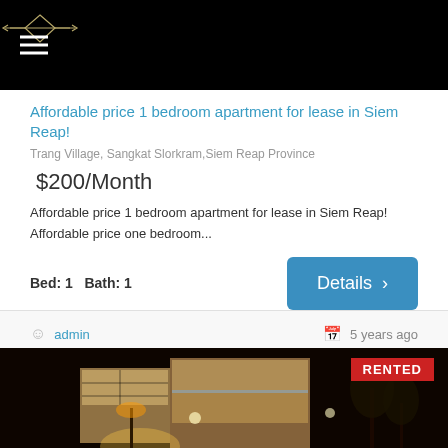Affordable price 1 bedroom apartment for lease in Siem Reap!
Trang Village, Sangkat Slorkram,Siem Reap Province
$200/Month
Affordable price 1 bedroom apartment for lease in Siem Reap! Affordable price one bedroom...
Bed: 1   Bath: 1
Details
admin
5 years ago
[Figure (photo): Night photo of a modern house exterior with warm lighting and a RENTED badge in the top right corner]